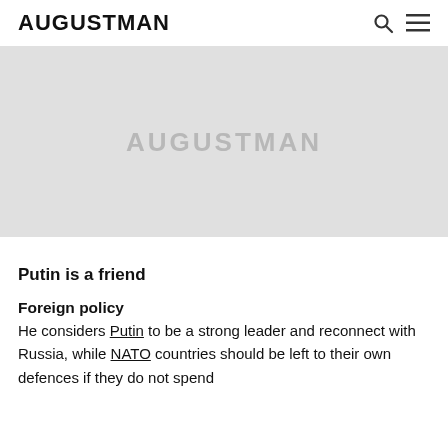AUGUSTMAN
[Figure (photo): Large image placeholder with AUGUSTMAN watermark on light grey background]
Putin is a friend
Foreign policy
He considers Putin to be a strong leader and reconnect with Russia, while NATO countries should be left to their own defences if they do not spend